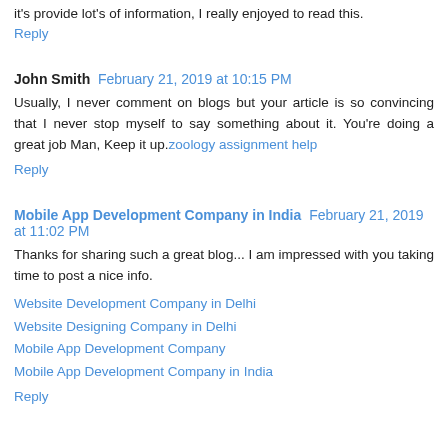it's provide lot's of information, I really enjoyed to read this.
Reply
John Smith  February 21, 2019 at 10:15 PM
Usually, I never comment on blogs but your article is so convincing that I never stop myself to say something about it. You're doing a great job Man, Keep it up. zoology assignment help
Reply
Mobile App Development Company in India  February 21, 2019 at 11:02 PM
Thanks for sharing such a great blog... I am impressed with you taking time to post a nice info.
Website Development Company in Delhi
Website Designing Company in Delhi
Mobile App Development Company
Mobile App Development Company in India
Reply